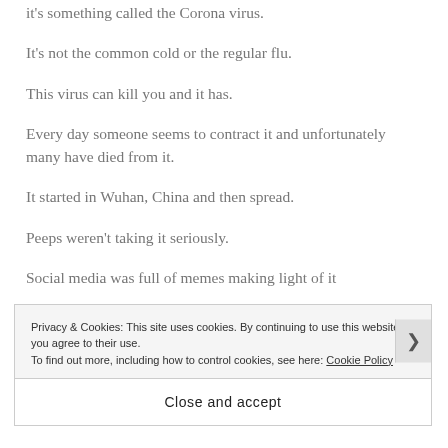it's something called the Corona virus.
It's not the common cold or the regular flu.
This virus can kill you and it has.
Every day someone seems to contract it and unfortunately many have died from it.
It started in Wuhan, China and then spread.
Peeps weren't taking it seriously.
Social media was full of memes making light of it
Privacy & Cookies: This site uses cookies. By continuing to use this website, you agree to their use.
To find out more, including how to control cookies, see here: Cookie Policy
Close and accept